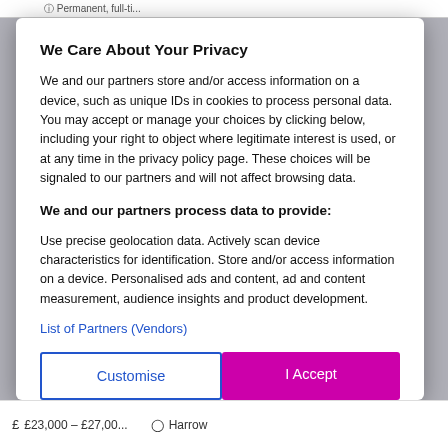Permanent, full-ti...
We Care About Your Privacy
We and our partners store and/or access information on a device, such as unique IDs in cookies to process personal data. You may accept or manage your choices by clicking below, including your right to object where legitimate interest is used, or at any time in the privacy policy page. These choices will be signaled to our partners and will not affect browsing data.
We and our partners process data to provide:
Use precise geolocation data. Actively scan device characteristics for identification. Store and/or access information on a device. Personalised ads and content, ad and content measurement, audience insights and product development.
List of Partners (Vendors)
Customise
I Accept
£23,000 – £27,00...   Harrow